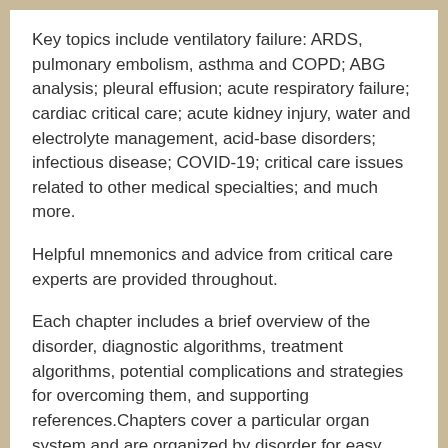Key topics include ventilatory failure: ARDS, pulmonary embolism, asthma and COPD; ABG analysis; pleural effusion; acute respiratory failure; cardiac critical care; acute kidney injury, water and electrolyte management, acid-base disorders; infectious disease; COVID-19; critical care issues related to other medical specialties; and much more.
Helpful mnemonics and advice from critical care experts are provided throughout.
Each chapter includes a brief overview of the disorder, diagnostic algorithms, treatment algorithms, potential complications and strategies for overcoming them, and supporting references.Chapters cover a particular organ system and are organized by disorder for easy reference.
DOWNLOAD THIS MEDICAL BOOK